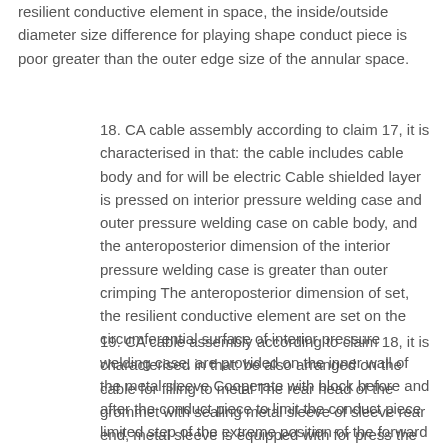resilient conductive element in space, the inside/outside diameter size difference for playing shape conduct piece is poor greater than the outer edge size of the annular space.
18. CA cable assembly according to claim 17, it is characterised in that: the cable includes cable body and for will be electric Cable shielded layer is pressed on interior pressure welding case and outer pressure welding case on cable body, and the anteroposterior dimension of the interior pressure welding case is greater than outer crimping The anteroposterior dimension of set, the resilient conductive element are set on the circumferential surface of interior pressure welding case, are provided on the inner wall of the metal sleeve Cooperate with block before and after the conduct piece to limit the conduct piece limited step of the extreme position of the forward movement of resilient conductive element.
19. CA cable assembly according to claim 18, it is characterised in that: be also arranged on the cable for filling to metal The rear head of the grommet with sealing metal sleeve of sleeve rear end, metal sleeve is equipped with for press the grommet forward Cover board.